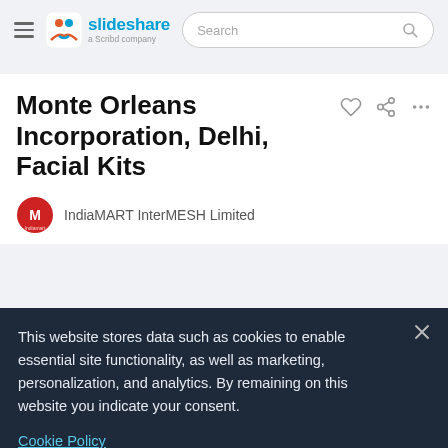slideshare — a Scribd company — Search
Monte Orleans Incorporation, Delhi, Facial Kits
IndiaMART InterMESH Limited
This website stores data such as cookies to enable essential site functionality, as well as marketing, personalization, and analytics. By remaining on this website you indicate your consent.
Cookie Policy